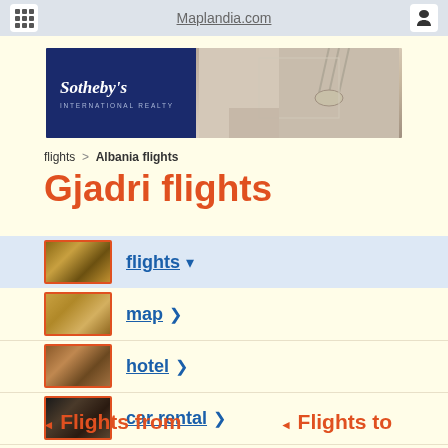Maplandia.com
[Figure (photo): Sotheby's International Realty advertisement banner with dark blue left panel and room interior on right]
flights > Albania flights
Gjadri flights
flights ▾
map ›
hotel ›
car rental ›
Flights from   Flights to